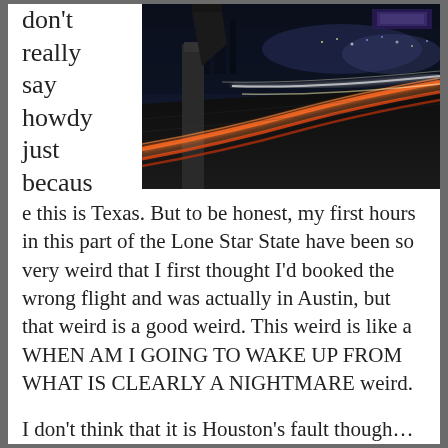people don't really say howdy just because this is Texas. But to be honest, my first hours in this part of the Lone Star State have been so very weird that I first thought I'd booked the wrong flight and was actually in Austin, but that weird is a good weird. This weird is like a WHEN AM I GOING TO WAKE UP FROM WHAT IS CLEARLY A NIGHTMARE weird.

I don't think that it is Houston's fault though… To be fair, I'm not even sure that I'm in Houston proper. I flew into Hobby because the
[Figure (photo): Night time long-exposure photograph of a multi-lane highway with light trails from vehicles, city lights and highway infrastructure in background, dark blue sky]